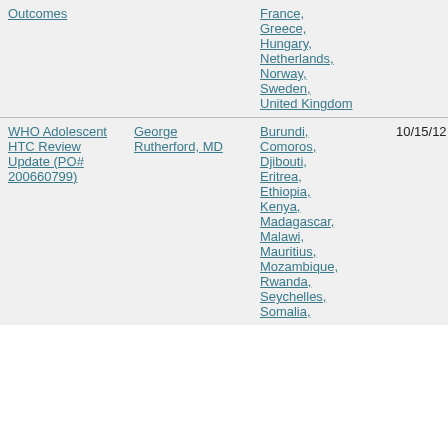| Project | Lead | Countries | Start | End |
| --- | --- | --- | --- | --- |
| Outcomes |  | France, Greece, Hungary, Netherlands, Norway, Sweden, United Kingdom |  |  |
| WHO Adolescent HTC Review Update (PO# 200660799) | George Rutherford, MD | Burundi, Comoros, Djibouti, Eritrea, Ethiopia, Kenya, Madagascar, Malawi, Mauritius, Mozambique, Rwanda, Seychelles, Somalia | 10/15/12 | 3/31/13 |